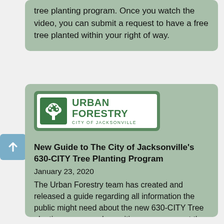tree planting program. Once you watch the video, you can submit a request to have a free tree planted within your right of way.
[Figure (logo): Urban Forestry City of Jacksonville logo — green rectangle with white tree icon on left, text 'URBAN FORESTRY CITY OF JACKSONVILLE' on right]
New Guide to The City of Jacksonville's 630-CITY Tree Planting Program
January 23, 2020
The Urban Forestry team has created and released a guide regarding all information the public might need about the new 630-CITY Tree planting program where citizens can request the city to